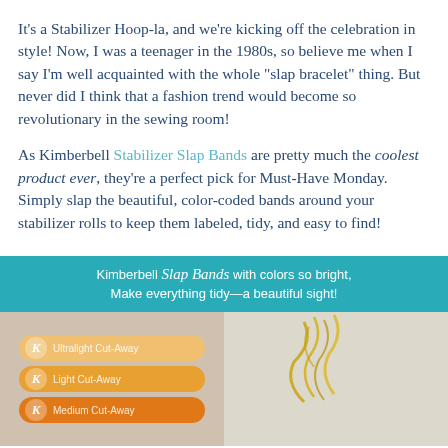It's a Stabilizer Hoop-la, and we're kicking off the celebration in style! Now, I was a teenager in the 1980s, so believe me when I say I'm well acquainted with the whole "slap bracelet" thing. But never did I think that a fashion trend would become so revolutionary in the sewing room!
As Kimberbell Stabilizer Slap Bands are pretty much the coolest product ever, they're a perfect pick for Must-Have Monday. Simply slap the beautiful, color-coded bands around your stabilizer rolls to keep them labeled, tidy, and easy to find!
[Figure (photo): Teal banner with text 'Kimberbell Slap Bands with colors so bright, Make everything tidy—a beautiful sight!' above two product photos showing color-coded stabilizer slap bands including Ultralight Cut-Away, Light Cut-Away, Medium Cut-Away on the left and Medium Cut-Away, Heavy Tear-Away, Wash-Away on the right with gold confetti]